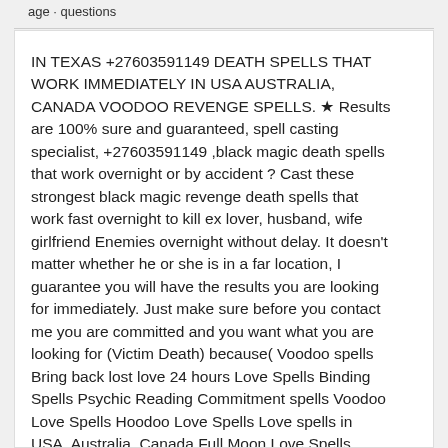age · questions
IN TEXAS +27603591149 DEATH SPELLS THAT WORK IMMEDIATELY IN USA AUSTRALIA, CANADA VOODOO REVENGE SPELLS. ★ Results are 100% sure and guaranteed, spell casting specialist, +27603591149 ,black magic death spells that work overnight or by accident ? Cast these strongest black magic revenge death spells that work fast overnight to kill ex lover, husband, wife girlfriend Enemies overnight without delay. It doesn't matter whether he or she is in a far location, I guarantee you will have the results you are looking for immediately. Just make sure before you contact me you are committed and you want what you are looking for (Victim Death) because( Voodoo spells Bring back lost love 24 hours Love Spells Binding Spells Psychic Reading Commitment spells Voodoo Love Spells Hoodoo Love Spells Love spells in USA, Australia, Canada Full Moon Love Spells Powerful Love Spells – cast by real spell caster Gay love spells Lesbian Love Spells Love charms and amulets Marriage Spells Get Together Spells – bring back my love